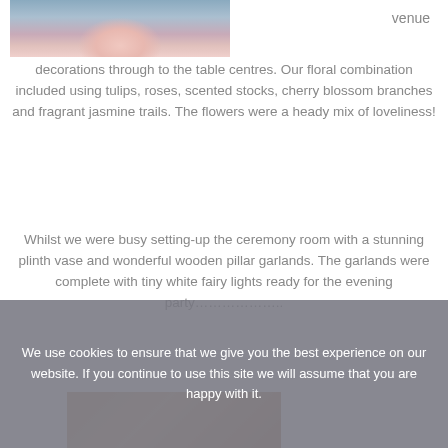[Figure (photo): Partial photo of a pink rose against a blue-grey background, cropped at top of page]
venue decorations through to the table centres. Our floral combination included using tulips, roses, scented stocks, cherry blossom branches and fragrant jasmine trails. The flowers were a heady mix of loveliness!
Whilst we were busy setting-up the ceremony room with a stunning plinth vase and wonderful wooden pillar garlands. The garlands were complete with tiny white fairy lights ready for the evening party………………..
[Figure (photo): Partial photo at bottom of page, appears to show floral or wooden decoration elements]
We use cookies to ensure that we give you the best experience on our website. If you continue to use this site we will assume that you are happy with it.